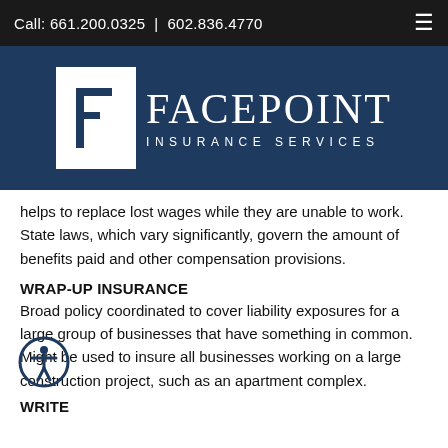Call: 661.200.0325 | 602.836.4770
[Figure (logo): Facepoint Insurance Services logo — white F lettermark on navy square, with company name in white serif/sans text on dark navy background]
helps to replace lost wages while they are unable to work. State laws, which vary significantly, govern the amount of benefits paid and other compensation provisions.
WRAP-UP INSURANCE
Broad policy coordinated to cover liability exposures for a large group of businesses that have something in common. Might be used to insure all businesses working on a large construction project, such as an apartment complex.
WRITE